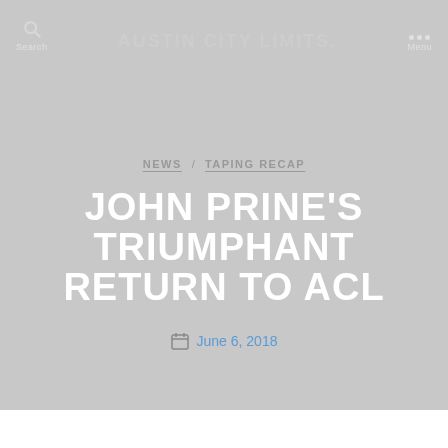Search  Austin City Limits  Menu
NEWS  TAPING RECAP
JOHN PRINE'S TRIUMPHANT RETURN TO ACL
June 6, 2018